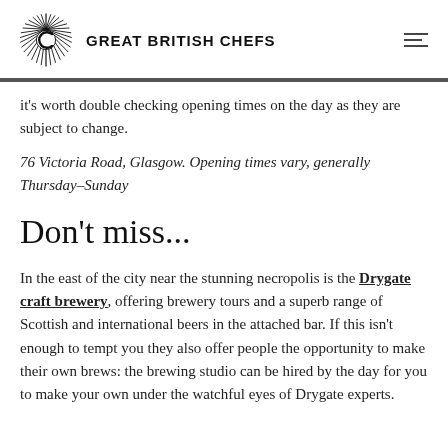GREAT BRITISH CHEFS
it's worth double checking opening times on the day as they are subject to change.
76 Victoria Road, Glasgow. Opening times vary, generally Thursday–Sunday
Don't miss...
In the east of the city near the stunning necropolis is the Drygate craft brewery, offering brewery tours and a superb range of Scottish and international beers in the attached bar. If this isn't enough to tempt you they also offer people the opportunity to make their own brews: the brewing studio can be hired by the day for you to make your own under the watchful eyes of Drygate experts.